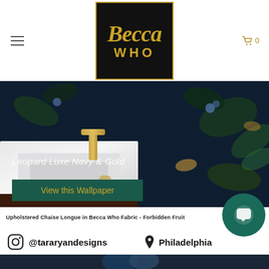[Figure (logo): Becca Who logo — gold script 'Becca' above 'WHO' in gold capitals, on black background with gold border]
[Figure (photo): Bathroom photo with dark navy tropical leopard wallpaper, white sink, gold faucet, overlaid text 'Leopard Luxe Navy & Gold' and dark green 'View this Wallpaper' CTA button]
Upholstered Chaise Longue in Becca Who Fabric - Forbidden Fruit
@tararyandesigns
Philadelphia